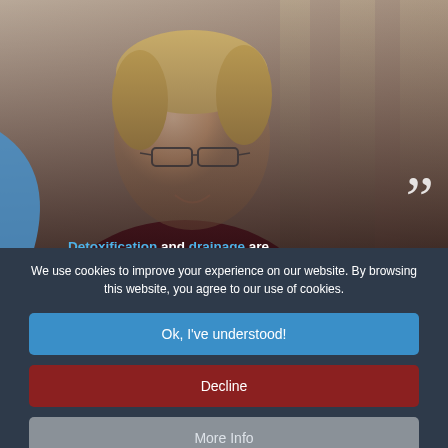[Figure (photo): A smiling man with blond hair and glasses wearing a dark maroon polo shirt, photographed outdoors with a wooden background. A blue curved shape appears on the lower left of the image.]
Detoxification and drainage are
We use cookies to improve your experience on our website. By browsing this website, you agree to our use of cookies.
Ok, I've understood!
Decline
More Info